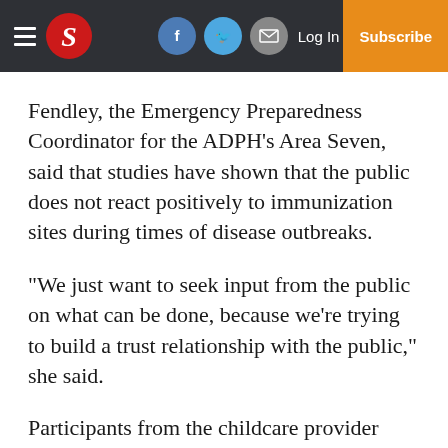S [newspaper logo header with social icons, Log In, Subscribe]
Fendley, the Emergency Preparedness Coordinator for the ADPH’s Area Seven, said that studies have shown that the public does not react positively to immunization sites during times of disease outbreaks.
“We just want to seek input from the public on what can be done, because we’re trying to build a trust relationship with the public,” she said.
Participants from the childcare provider training who also attend the EPMI will receive one additional